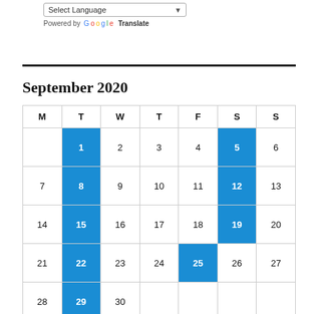[Figure (screenshot): Select Language dropdown UI element with Google Translate attribution]
September 2020
| M | T | W | T | F | S | S |
| --- | --- | --- | --- | --- | --- | --- |
|  | 1 | 2 | 3 | 4 | 5 | 6 |
| 7 | 8 | 9 | 10 | 11 | 12 | 13 |
| 14 | 15 | 16 | 17 | 18 | 19 | 20 |
| 21 | 22 | 23 | 24 | 25 | 26 | 27 |
| 28 | 29 | 30 |  |  |  |  |